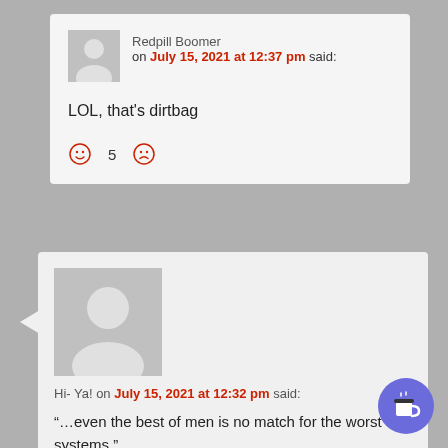Redpill Boomer on July 15, 2021 at 12:37 pm said:
LOL, that's dirtbag
☺ 5 ☹
Hi- Ya! on July 15, 2021 at 12:32 pm said:
“…even the best of men is no match for the worst of systems.”

Totally stealing this one!